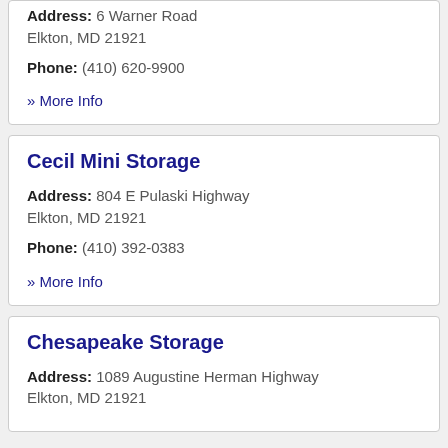Address: 6 Warner Road Elkton, MD 21921
Phone: (410) 620-9900
» More Info
Cecil Mini Storage
Address: 804 E Pulaski Highway Elkton, MD 21921
Phone: (410) 392-0383
» More Info
Chesapeake Storage
Address: 1089 Augustine Herman Highway Elkton, MD 21921